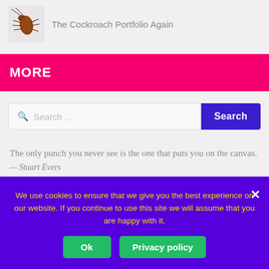[Figure (photo): Small brown cockroach image thumbnail]
The Cockroach Portfolio Again
MORE
Search …
The only punch you never see is the one that puts you on the canvas.
— Stuart Evers
We use cookies to ensure that we give you the best experience on our website. If you continue to use this site we will assume that you are happy with it.